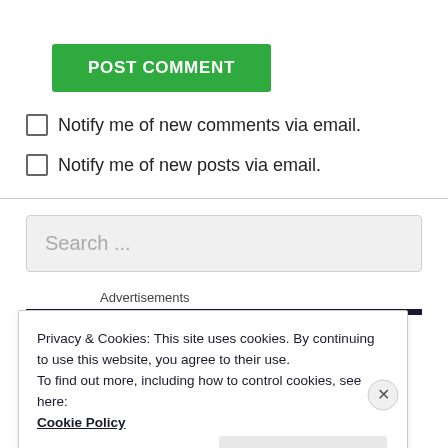POST COMMENT
Notify me of new comments via email.
Notify me of new posts via email.
Search ...
Advertisements
Privacy & Cookies: This site uses cookies. By continuing to use this website, you agree to their use.
To find out more, including how to control cookies, see here:
Cookie Policy
Close and accept